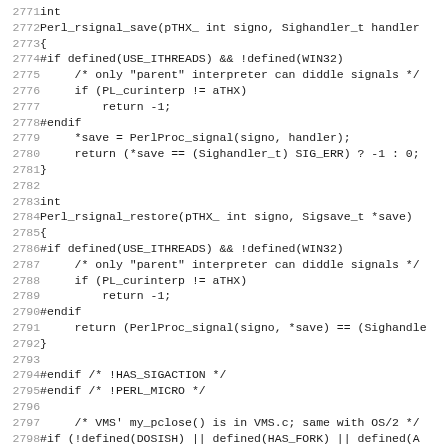Source code listing lines 2771-2802, showing Perl C source code including Perl_rsignal_save, Perl_rsignal_restore, and Perl_my_pclose functions